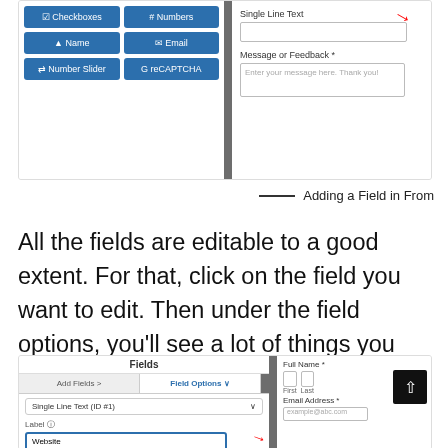[Figure (screenshot): WordPress form builder UI showing field buttons (Checkboxes, Numbers, Name, Email, Number Slider, reCAPTCHA) on the left and a form preview (Single Line Text, Message or Feedback) on the right with a red arrow pointing to the field.]
Adding a Field in From
All the fields are editable to a good extent. For that, click on the field you want to edit. Then under the field options, you’ll see a lot of things you can tweak.
[Figure (screenshot): WordPress form builder showing Fields panel with Add Fields and Field Options tabs, Single Line Text field selected, Label set to 'Website', and a form preview with Full Name and Email Address fields and an upload button.]